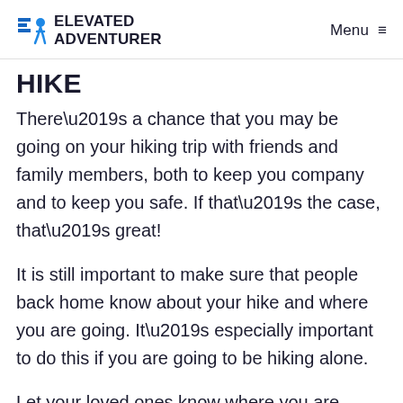ELEVATED ADVENTURER | Menu
HIKE
There’s a chance that you may be going on your hiking trip with friends and family members, both to keep you company and to keep you safe. If that’s the case, that’s great!
It is still important to make sure that people back home know about your hike and where you are going. It’s especially important to do this if you are going to be hiking alone.
Let your loved ones know where you are